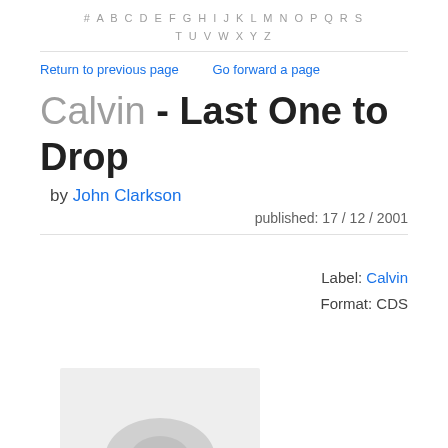# A B C D E F G H I J K L M N O P Q R S T U V W X Y Z
Return to previous page    Go forward a page
Calvin - Last One to Drop
by John Clarkson
published: 17 / 12 / 2001
Label: Calvin
Format: CDS
[Figure (illustration): Album cover art thumbnail, light grey background with partial image visible]